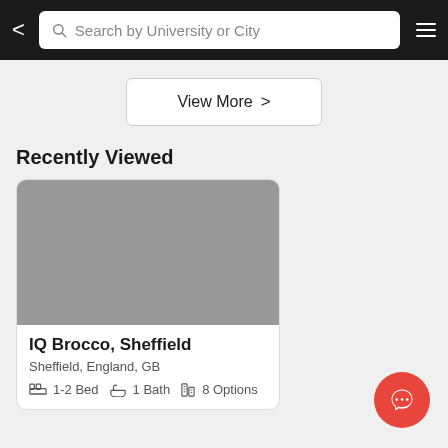Search by University or City
View More
Recently Viewed
[Figure (screenshot): Grey placeholder image for property listing]
IQ Brocco, Sheffield
Sheffield, England, GB
1-2 Bed   1 Bath   8 Options